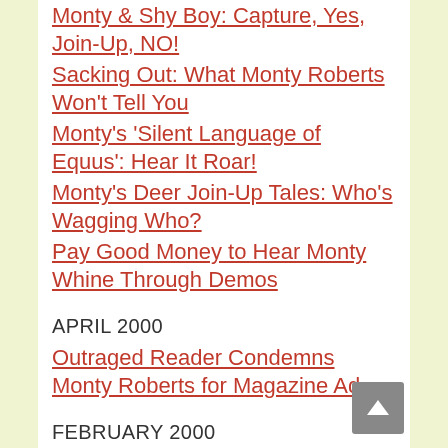Monty & Shy Boy: Capture, Yes, Join-Up, NO!
Sacking Out: What Monty Roberts Won't Tell You
Monty's 'Silent Language of Equus': Hear It Roar!
Monty's Deer Join-Up Tales: Who's Wagging Who?
Pay Good Money to Hear Monty Whine Through Demos
APRIL 2000
Outraged Reader Condemns Monty Roberts for Magazine Ad
FEBRUARY 2000